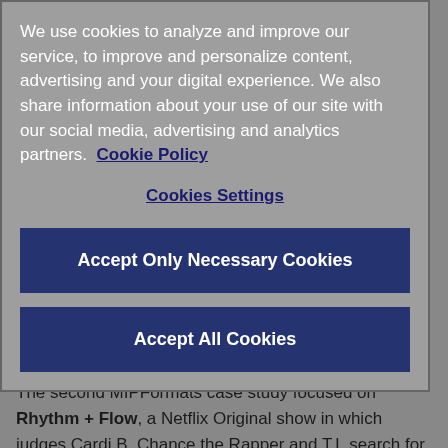We use cookies to analyze and improve our service, to improve and personalize content, advertising and your digital experience. We also share information about your use of our site with our social media, advertising and analytics partners.  Cookie Policy
Cookies Settings
Accept Only Necessary Cookies
Accept All Cookies
The second MIPFormats case study focused on Rhythm + Flow, a Netflix Original show in which judges Cardi B, Chance the Rapper and T.I. search for the next emerging hip-hop star. Mike Jackson, of Get Lifted